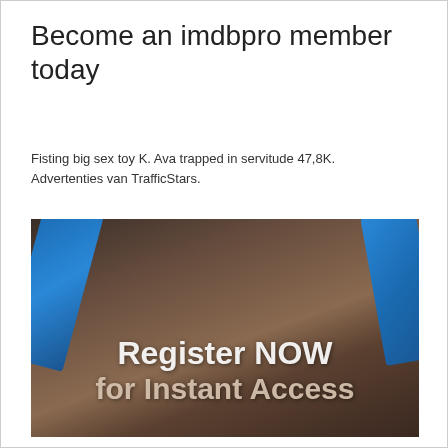Become an imdbpro member today
Fisting big sex toy K. Ava trapped in servitude 47,8K. Advertenties van TrafficStars.
[Figure (photo): Advertisement image with text overlay reading 'Register NOW for Instant Access']